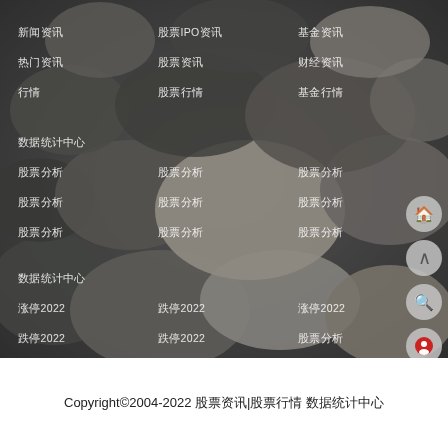[Figure (photo): Background photo of smooth river pebbles/stones in various grey, beige and dark tones, used as a website footer navigation menu background]
新闻资讯
股票IPO资讯
基金资讯
热门资讯
股票资讯
财经资讯
行情
股票行情
基金行情
股票数据
股票分析
股票分析
股票分析
股票分析
股票分析
股票分析
数据统计中心
数据统计中心
涨停2022
跌停2022
涨停2022
跌停2022
涨停2022
股票分析
跌停2022
跌停2022
股票分析
股票分析
股票分析
Copyright©2004-2022 股票资讯|股票行情 数据统计中心